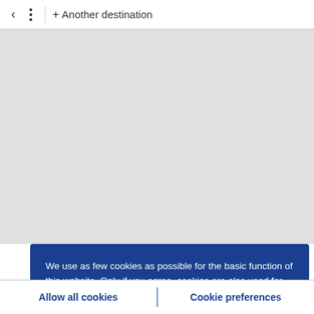< ⋮ + Another destination
[Figure (map): Gray map background area]
We use as few cookies as possible for the basic function of this website. Only if you agree, cookies are also used for advanced functions, analysis or marketing purposes.
Allow all cookies | Cookie preferences